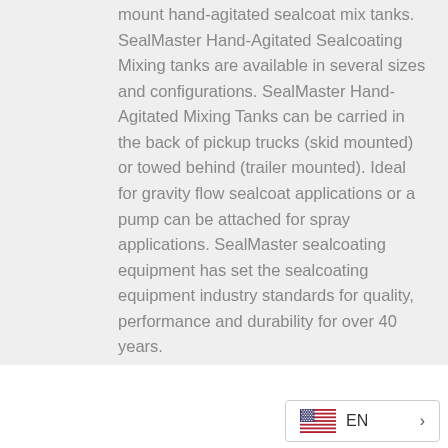mount hand-agitated sealcoat mix tanks. SealMaster Hand-Agitated Sealcoating Mixing tanks are available in several sizes and configurations. SealMaster Hand-Agitated Mixing Tanks can be carried in the back of pickup trucks (skid mounted) or towed behind (trailer mounted). Ideal for gravity flow sealcoat applications or a pump can be attached for spray applications. SealMaster sealcoating equipment has set the sealcoating equipment industry standards for quality, performance and durability for over 40 years.
EN